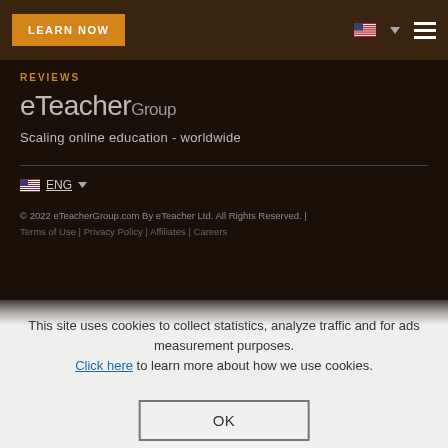LEARN NOW | ENG | [hamburger menu]
REVIEWS
eTeacherGroup
Scaling online education - worldwide
ENG
© 2022 eTeacherGroup.com By eTeacher Ltd. All Rights Reserved.
Terms of Use | Privacy Policy | Affiliates | Careers
This site uses cookies to collect statistics, analyze traffic and for ads measurement purposes. Click here to learn more about how we use cookies.
OK